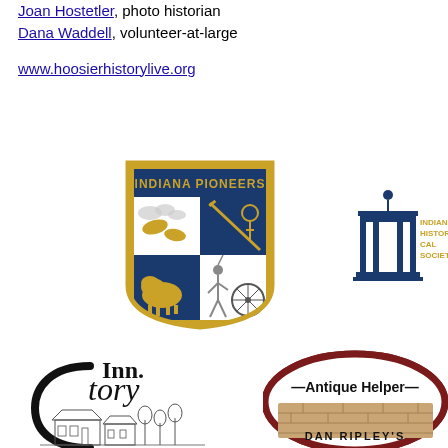Joan Hostetler, photo historian
Dana Waddell, volunteer-at-large
www.hoosierhistorylive.org
[Figure (logo): Indiana Pioneers shield logo with bison, Native American figure, rifle, and spinning wheel on blue and white quarters with gold border and text 'INDIANA PIONEERS']
[Figure (logo): Indiana Historical Society logo with classical column portico icon and text 'INDIANA HISTORICAL SOCIETY']
[Figure (logo): Story Inn logo with hand-drawn illustration of inn buildings and trees]
[Figure (logo): Antique Helper / Dan Ripley's logo with oval dark red border and building graphic]